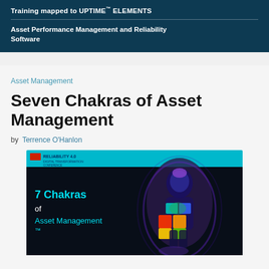Training mapped to UPTIME™ ELEMENTS
Asset Performance Management and Reliability Software
Asset Management
Seven Chakras of Asset Management
by Terrence O'Hanlon
[Figure (photo): Presentation slide thumbnail showing '7 Chakras of Asset Management™' with a glowing human figure with colorful chakra points on a dark background, with a teal header bar showing 'RELIABILITY 4.0' conference branding.]